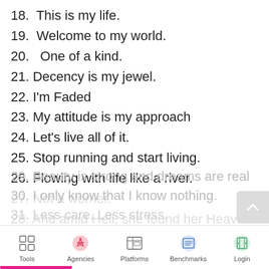18.  This is my life.
19.  Welcome to my world.
20.   One of a kind.
21. Decency is my jewel.
22. I'm Faded
23. My attitude is my approach
24. Let's live all of it.
25. Stop running and start living.
26. Flowing with life like a river.
27. Not a worrier.
28. And amid Hell, she found her Heaven.
29. Beauty is strong and dreams are real
30. I only know that I know nothing.
31. Less care. Less stress.
Tools  Agencies  Platforms  Benchmarks  Login